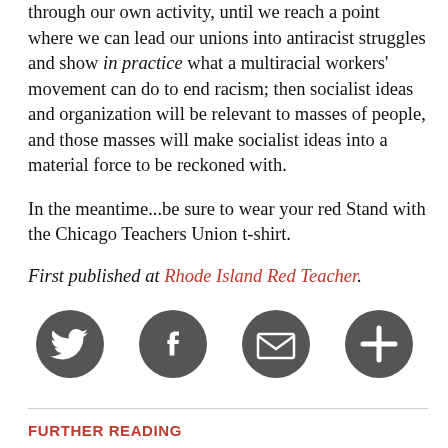through our own activity, until we reach a point where we can lead our unions into antiracist struggles and show in practice what a multiracial workers' movement can do to end racism; then socialist ideas and organization will be relevant to masses of people, and those masses will make socialist ideas into a material force to be reckoned with.
In the meantime...be sure to wear your red Stand with the Chicago Teachers Union t-shirt.
First published at Rhode Island Red Teacher.
[Figure (infographic): Four circular dark grey social media / action icons in a row: Twitter bird, Facebook f, envelope/email, and a plus/share icon.]
FURTHER READING